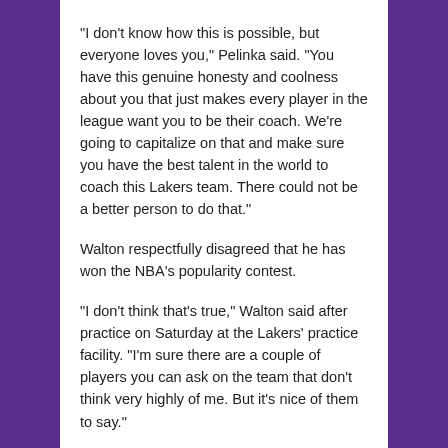“I don’t know how this is possible, but everyone loves you,” Pelinka said. “You have this genuine honesty and coolness about you that just makes every player in the league want you to be their coach. We’re going to capitalize on that and make sure you have the best talent in the world to coach this Lakers team. There could not be a better person to do that.”
Walton respectfully disagreed that he has won the NBA’s popularity contest.
“I don’t think that’s true,” Walton said after practice on Saturday at the Lakers’ practice facility. “I’m sure there are a couple of players you can ask on the team that don’t think very highly of me. But it’s nice of them to say.”
Walton also found it “obviously nice to have the upper management supporting what you’re doing.”
“It gives you the confidence to make the decisions you